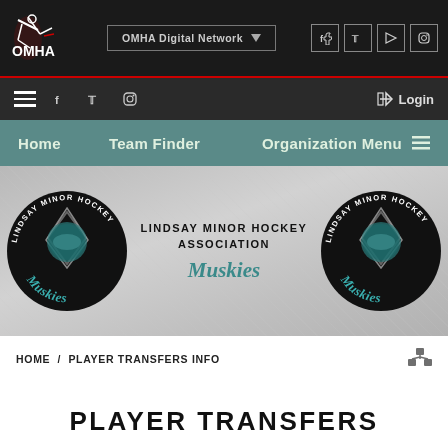OMHA Digital Network | Login | Home | Team Finder | Organization Menu
[Figure (logo): Lindsay Minor Hockey Association Muskies banner with two circular logos flanking centered text and script]
HOME / PLAYER TRANSFERS INFO
PLAYER TRANSFERS